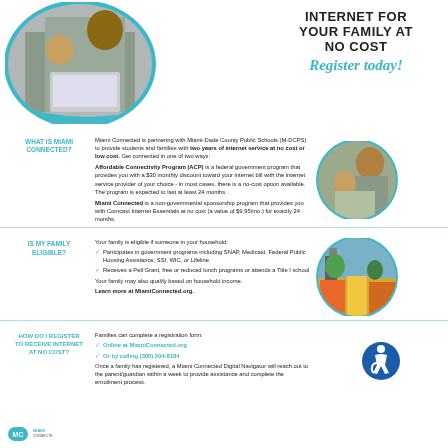[Figure (photo): Photo of a father and young child working together at a laptop, circular crop with teal border]
INTERNET FOR YOUR FAMILY AT NO COST Register today!
WHAT IS MIAMI CONNECTED?
Miami Connected is partnering with Miami-Dade County Public Schools (M-DCPS) to provide students and families with two years of internet service at no cost or low cost. Get connected in one of two ways:
Affordable Connectivity Program (ACP) is a federal government program that provides you with a $30 monthly discount toward your internet bill with the internet service provider of your choice - in most cases, there is a no-cost option available. The program is expected to last at least 24 months.
Miami Connected is a non-governmental sponsorship program that provides you with Comcast Internet Essentials at no cost (a value of $9.95/mo.) for exactly 24 months.
[Figure (photo): Circular photo of a father holding a young child, both looking at something]
IS MY FAMILY ELIGIBLE?
Your family is eligible if someone in your household:
Participates in government programs including SNAP, Medicaid, Federal Public Housing Assistance, SSI, WIC, or Lifeline
Receives a Pell Grant, free or reduced lunch programs or attends a Title I school
Your family may also qualify based on household income.
Learn more at MiamiConnected.org.
[Figure (photo): Circular photo of a colorful commercial street/library building exterior]
HOW DO I REGISTER TO RECEIVE INTERNET AT NO COST?
Families can complete a registration form:
Online at MiamiConnected.org
Or by calling (305) 204-8184
Once a family has registered, a Miami Connected Digital Navigator will reach out to the parent/guardian within a week to provide assistance and complete the enrollment process.